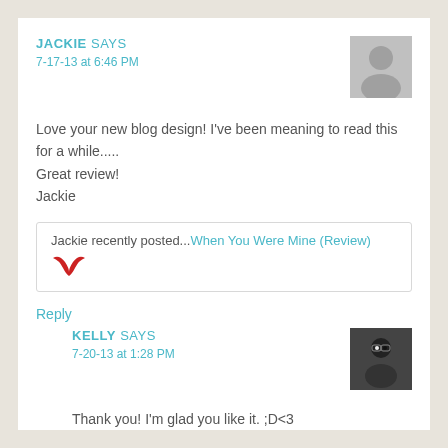JACKIE SAYS
7-17-13 at 6:46 PM
Love your new blog design! I've been meaning to read this for a while.....
Great review!
Jackie
Jackie recently posted...When You Were Mine (Review)
Reply
KELLY SAYS
7-20-13 at 1:28 PM
Thank you! I'm glad you like it. ;D<3